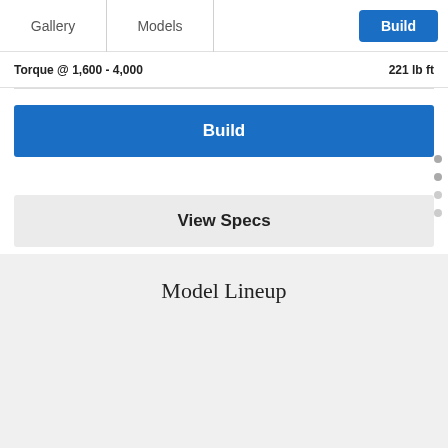Gallery | Models | Build
Torque @ 1,600 - 4,000   221 lb ft
Build
View Specs
Model Lineup
[Figure (photo): Side profile of a silver sedan automobile (Mercedes-Benz A-Class or similar) shown against a light gray background.]